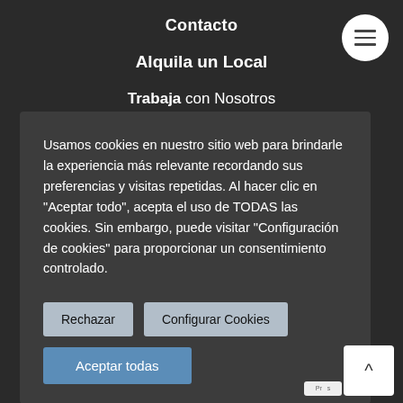Contacto
Alquila un Local
Trabaja con Nosotros
Usamos cookies en nuestro sitio web para brindarle la experiencia más relevante recordando sus preferencias y visitas repetidas. Al hacer clic en "Aceptar todo", acepta el uso de TODAS las cookies. Sin embargo, puede visitar "Configuración de cookies" para proporcionar un consentimiento controlado.
Rechazar
Configurar Cookies
Aceptar todas